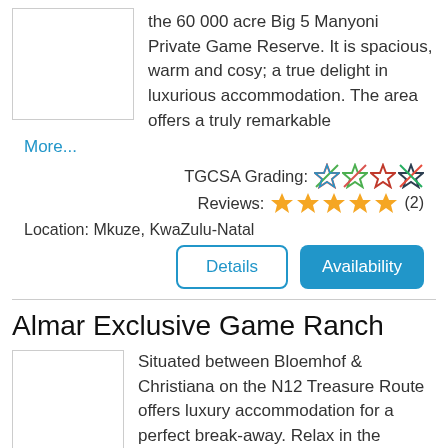the 60 000 acre Big 5 Manyoni Private Game Reserve. It is spacious, warm and cosy; a true delight in luxurious accommodation. The area offers a truly remarkable
More...
TGCSA Grading: ★★★★
Reviews: ★★★★★ (2)
Location: Mkuze, KwaZulu-Natal
Details
Availability
Almar Exclusive Game Ranch
Situated between Bloemhof & Christiana on the N12 Treasure Route offers luxury accommodation for a perfect break-away. Relax in the peaceful surroundings while enjoying bird - & wildlife. Also facilities for Conferences, Functions, Weddings.